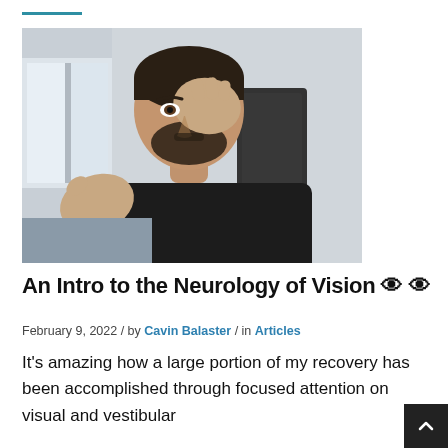[Figure (photo): A bearded man in a black leather jacket sitting indoors, covering one eye with his right hand and gesturing with his left hand (thumb up), as if demonstrating a vision test.]
An Intro to the Neurology of Vision 👁 👁
February 9, 2022 / by Cavin Balaster / in Articles
It's amazing how a large portion of my recovery has been accomplished through focused attention on visual and vestibular